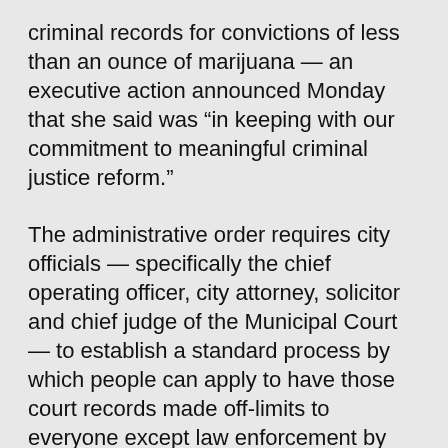criminal records for convictions of less than an ounce of marijuana — an executive action announced Monday that she said was “in keeping with our commitment to meaningful criminal justice reform.”
The administrative order requires city officials — specifically the chief operating officer, city attorney, solicitor and chief judge of the Municipal Court — to establish a standard process by which people can apply to have those court records made off-limits to everyone except law enforcement by Feb. 1.